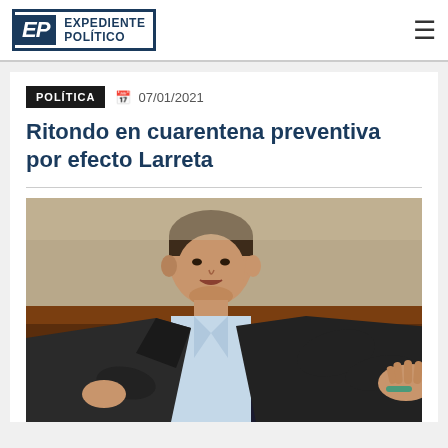EXPEDIENTE POLÍTICO
POLÍTICA  07/01/2021
Ritondo en cuarentena preventiva por efecto Larreta
[Figure (photo): A middle-aged man in a dark suit gesturing with his right hand open, palm up, appearing to speak. He has short dark hair and is seated in front of a dark wooden background.]